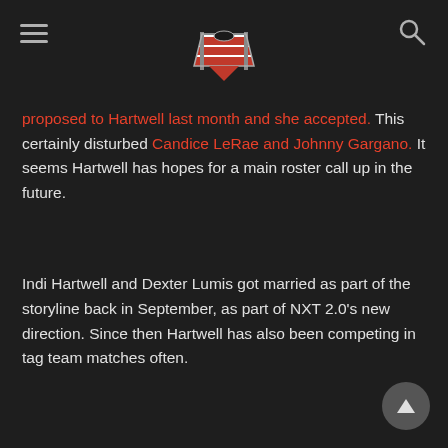[Navigation header with hamburger menu, wrestling ring logo, and search icon]
proposed to Hartwell last month and she accepted. This certainly disturbed Candice LeRae and Johnny Gargano. It seems Hartwell has hopes for a main roster call up in the future.
Indi Hartwell and Dexter Lumis got married as part of the storyline back in September, as part of NXT 2.0's new direction. Since then Hartwell has also been competing in tag team matches often.